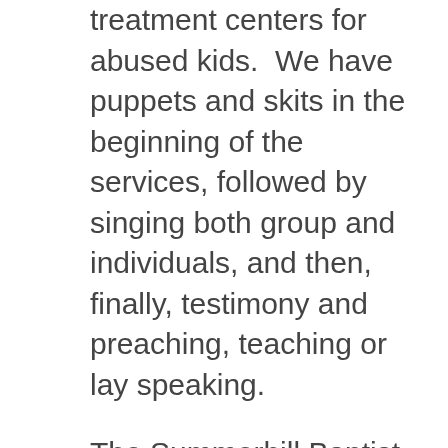treatment centers for abused kids.  We have puppets and skits in the beginning of the services, followed by singing both group and individuals, and then, finally, testimony and preaching, teaching or lay speaking.
The Summerhill Baptist Association has built a building to house 24 children at a children's home operated by BMDMI costing $50,000, of which